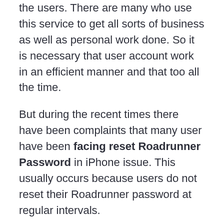the users. There are many who use this service to get all sorts of business as well as personal work done. So it is necessary that user account work in an efficient manner and that too all the time.
But during the recent times there have been complaints that many user have been facing reset Roadrunner Password in iPhone issue. This usually occurs because users do not reset their Roadrunner password at regular intervals.
Best Way To Fix Roadrunner Email Password | RR Mail Account Recover...